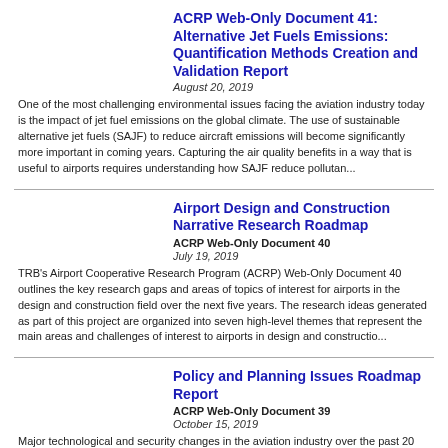ACRP Web-Only Document 41: Alternative Jet Fuels Emissions: Quantification Methods Creation and Validation Report
August 20, 2019
One of the most challenging environmental issues facing the aviation industry today is the impact of jet fuel emissions on the global climate. The use of sustainable alternative jet fuels (SAJF) to reduce aircraft emissions will become significantly more important in coming years. Capturing the air quality benefits in a way that is useful to airports requires understanding how SAJF reduce pollutan...
Airport Design and Construction Narrative Research Roadmap
ACRP Web-Only Document 40
July 19, 2019
TRB's Airport Cooperative Research Program (ACRP) Web-Only Document 40 outlines the key research gaps and areas of topics of interest for airports in the design and construction field over the next five years. The research ideas generated as part of this project are organized into seven high-level themes that represent the main areas and challenges of interest to airports in design and constructio...
Policy and Planning Issues Roadmap Report
ACRP Web-Only Document 39
October 15, 2019
Major technological and security changes in the aviation industry over the past 20 years have forced airport leaders and aviation stakeholders to think of new research ideas that